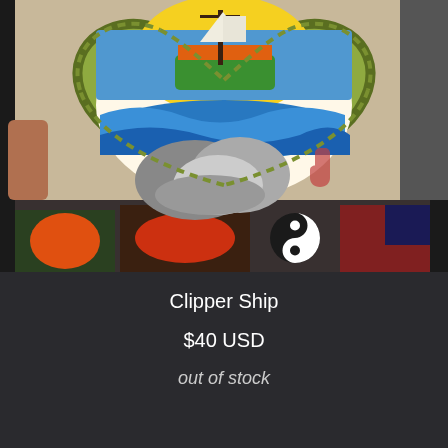[Figure (photo): Photo of a tattoo flash art piece showing a clipper ship in a heart-shaped rope frame. The ship is green with orange and white sails, surrounded by blue ocean waves and grey rocks, set against a yellow sun background. A red hand stamp signature is visible in the lower right of the artwork. The image is held up showing its surroundings including other tattoo art pieces.]
Clipper Ship
$40 USD
out of stock